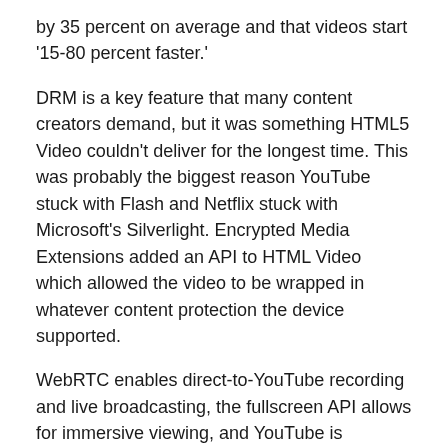by 35 percent on average and that videos start ‘15-80 percent faster.’
DRM is a key feature that many content creators demand, but it was something HTML5 Video couldn’t deliver for the longest time. This was probably the biggest reason YouTube stuck with Flash and Netflix stuck with Microsoft’s Silverlight. Encrypted Media Extensions added an API to HTML Video which allowed the video to be wrapped in whatever content protection the device supported.
WebRTC enables direct-to-YouTube recording and live broadcasting, the fullscreen API allows for immersive viewing, and YouTube is deprecating the use of a Flash object tag for embedding and recommends using the iframe API.
The move is yet another nail in Flash’s coffin. The